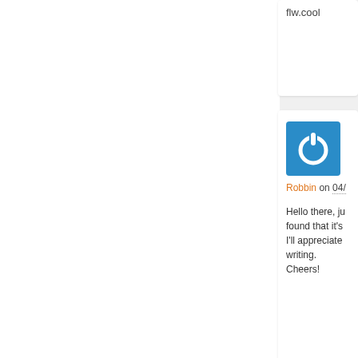flw.cool
[Figure (logo): Blue square power button icon avatar for Robbin]
Robbin on 04/...
Hello there, ju... found that it's... I'll appreciate ... writing. Cheers!
[Figure (logo): Blue square power button icon avatar for Antonia]
Antonia on 04/...